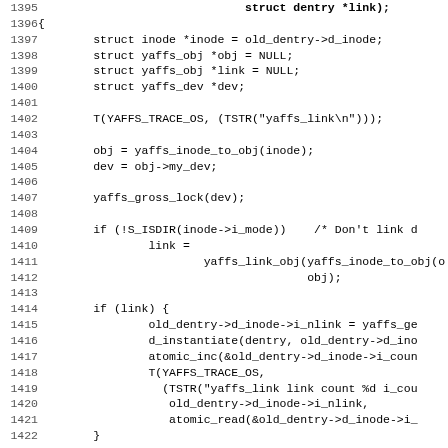[Figure (screenshot): Source code listing in monospace font showing C code for a yaffs filesystem link function, lines 1395-1427]